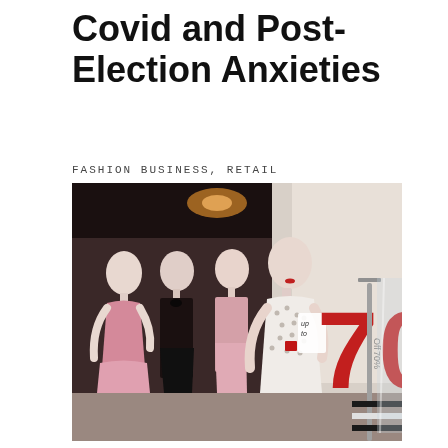Covid and Post-Election Anxieties
FASHION BUSINESS, RETAIL SALES
[Figure (photo): Photo of a fashion retail store window display showing mannequins dressed in various outfits. A large red '70' sign is prominently displayed, indicating a sale of up to 70% off.]